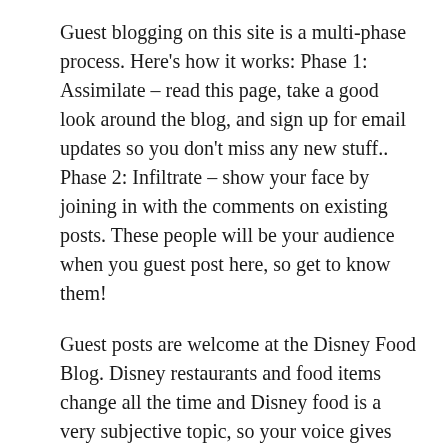Guest blogging on this site is a multi-phase process. Here's how it works: Phase 1: Assimilate – read this page, take a good look around the blog, and sign up for email updates so you don't miss any new stuff.. Phase 2: Infiltrate – show your face by joining in with the comments on existing posts. These people will be your audience when you guest post here, so get to know them!
Guest posts are welcome at the Disney Food Blog. Disney restaurants and food items change all the time and Disney food is a very subjective topic, so your voice gives the DFB a refreshing variety of interesting reads and opinions!. Topic Approval The first step is to search the Disney Food Blog to be sure that we haven't recently covered your topic.